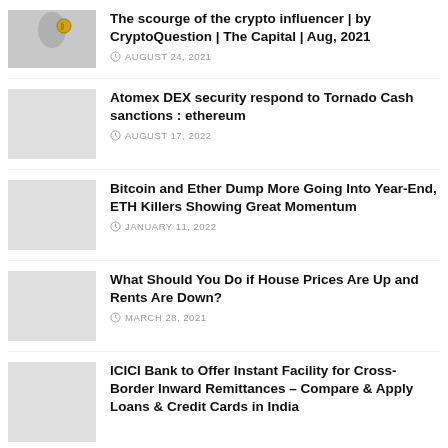[Figure (photo): Person holding a gold coin up to their eye]
The scourge of the crypto influencer | by CryptoQuestion | The Capital | Aug, 2021
AUGUST 24, 2021
[Figure (photo): Light grey placeholder thumbnail]
Atomex DEX security respond to Tornado Cash sanctions : ethereum
AUGUST 17, 2022
[Figure (photo): Light grey placeholder thumbnail]
Bitcoin and Ether Dump More Going Into Year-End, ETH Killers Showing Great Momentum
JANUARY 11, 2022
[Figure (photo): Light grey placeholder thumbnail]
What Should You Do if House Prices Are Up and Rents Are Down?
MARCH 28, 2021
[Figure (photo): Light grey placeholder thumbnail]
ICICI Bank to Offer Instant Facility for Cross-Border Inward Remittances – Compare & Apply Loans & Credit Cards in India